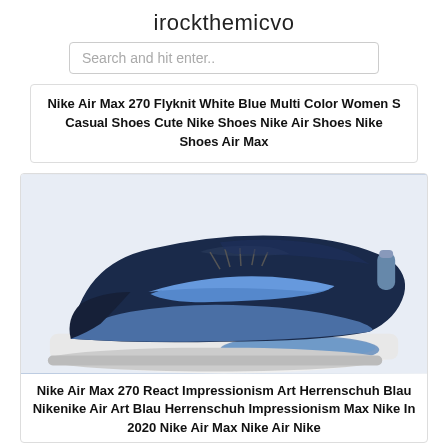irockthemicvo
Search and hit enter..
Nike Air Max 270 Flyknit White Blue Multi Color Women S Casual Shoes Cute Nike Shoes Nike Air Shoes Nike Shoes Air Max
[Figure (photo): Nike Air Max 270 React sneaker in navy blue and light blue colorway, side profile view on white background]
Nike Air Max 270 React Impressionism Art Herrenschuh Blau Nikenike Air Art Blau Herrenschuh Impressionism Max Nike In 2020 Nike Air Max Nike Air Nike